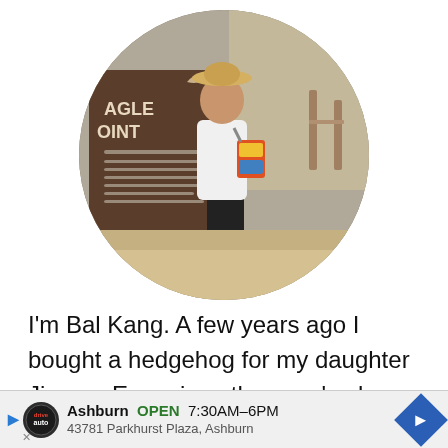[Figure (photo): Circular profile photo of a woman wearing a white shirt, black pants, straw hat, and carrying a colorful bag, standing at Eagle Point (a tourist location with a brown informational sign). Outdoor desert/canyon background.]
I'm Bal Kang. A few years ago I bought a hedgehog for my daughter Jinnee. Ever since then, we've been learning loads about keeping a hedgehog and understanding just what it takes to keep a healthy hedgehog. We've learned from on-
[Figure (screenshot): Advertisement banner: Ashburn OPEN 7:30AM-6PM, 43781 Parkhurst Plaza, Ashburn. Shows a DriveAuto logo circle, blue navigation arrow icon, and a blue diamond with a right-arrow.]